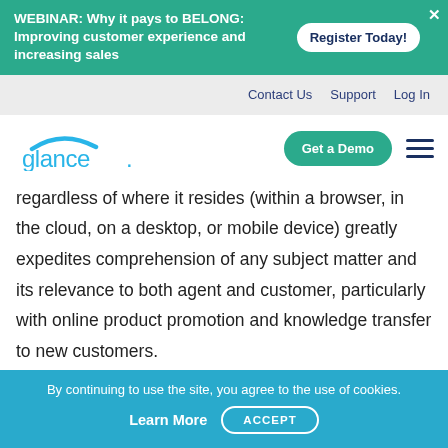WEBINAR: Why it pays to BELONG: Improving customer experience and increasing sales | Register Today!
Contact Us  Support  Log In
[Figure (logo): Glance logo with teal arc and company name]
regardless of where it resides (within a browser, in the cloud, on a desktop, or mobile device) greatly expedites comprehension of any subject matter and its relevance to both agent and customer, particularly with online product promotion and knowledge transfer to new customers.
By continuing to use the site, you agree to the use of cookies. Learn More  ACCEPT